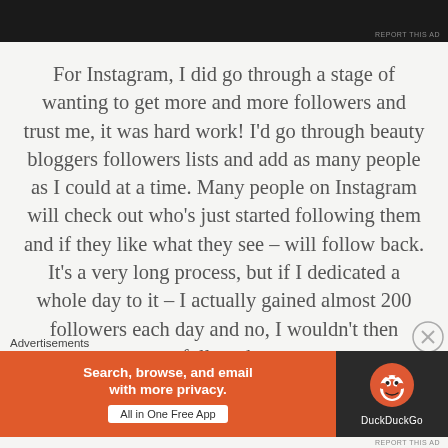[Figure (screenshot): Dark/black top ad banner with 'REPORT THIS AD' text in small gray letters at bottom right]
For Instagram, I did go through a stage of wanting to get more and more followers and trust me, it was hard work! I'd go through beauty bloggers followers lists and add as many people as I could at a time. Many people on Instagram will check out who's just started following them and if they like what they see – will follow back. It's a very long process, but if I dedicated a whole day to it – I actually gained almost 200 followers each day and no, I wouldn't then unfollow them.
Advertisements
[Figure (screenshot): DuckDuckGo advertisement banner: orange left side with 'Search, browse, and email with more privacy. All in One Free App' and dark right side with DuckDuckGo duck logo and DuckDuckGo name]